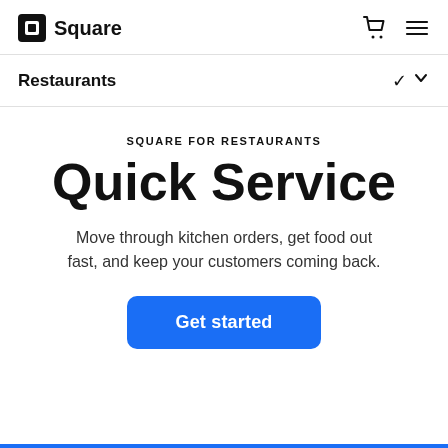Square
Restaurants
SQUARE FOR RESTAURANTS
Quick Service
Move through kitchen orders, get food out fast, and keep your customers coming back.
Get started